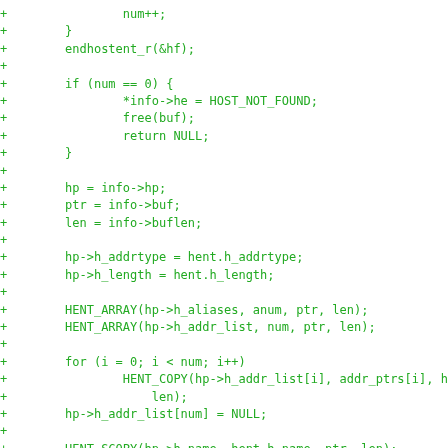[Figure (other): Source code diff snippet in green monospace font showing C code for host entry array processing, including endhostent_r, if/null checks, hp and ptr assignments, HENT_ARRAY and HENT_COPY macros, HENT_SCOPY calls, and free(buf).]